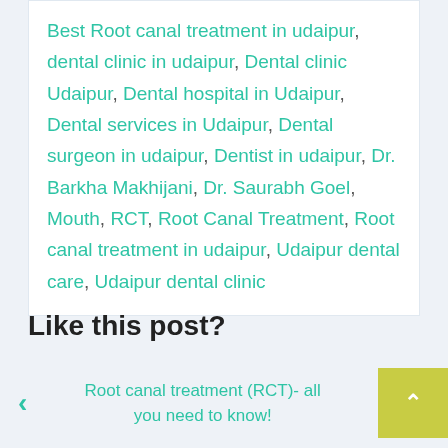Best Root canal treatment in udaipur, dental clinic in udaipur, Dental clinic Udaipur, Dental hospital in Udaipur, Dental services in Udaipur, Dental surgeon in udaipur, Dentist in udaipur, Dr. Barkha Makhijani, Dr. Saurabh Goel, Mouth, RCT, Root Canal Treatment, Root canal treatment in udaipur, Udaipur dental care, Udaipur dental clinic
Like this post?
Facebook, Google+, Twitter, Pinterest
Root canal treatment (RCT)- all you need to know!